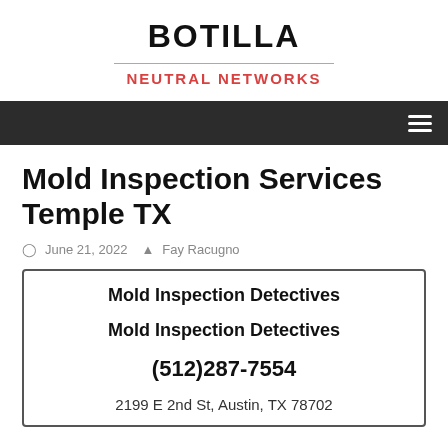BOTILLA
NEUTRAL NETWORKS
Mold Inspection Services Temple TX
June 21, 2022  Fay Racugno
| Mold Inspection Detectives |
| Mold Inspection Detectives |
| (512)287-7554 |
| 2199 E 2nd St, Austin, TX 78702 |